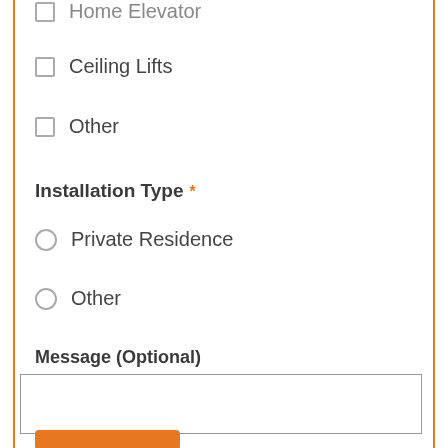Home Elevator
Ceiling Lifts
Other
Installation Type *
Private Residence
Other
Message (Optional)
[Figure (other): Empty text area input box for optional message]
[Figure (other): Orange submit button (partially visible at bottom)]